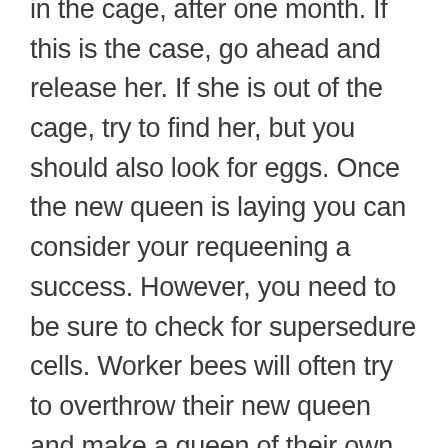in the cage, after one month. If this is the case, go ahead and release her. If she is out of the cage, try to find her, but you should also look for eggs. Once the new queen is laying you can consider your requeening a success. However, you need to be sure to check for supersedure cells. Worker bees will often try to overthrow their new queen and make a queen of their own genetics to replace her. If you do not find and destroy all the queen cells, the worker bees will kill the queen you installed once they have raised their own. For this reason, it is also important that you do not wait too long after installing the queen to check the hive. If you wait longer than it takes to raise a new queen, it will be too late.